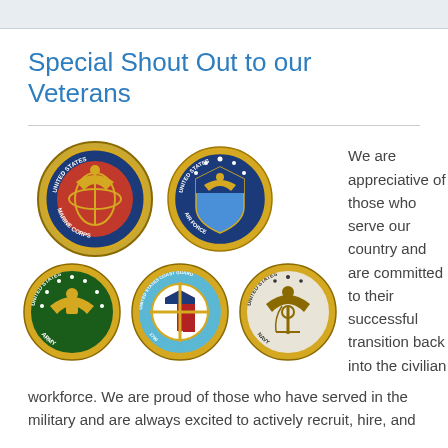Special Shout Out to our Veterans
[Figure (illustration): Five U.S. military branch seals: United States Marine Corps, United States Air Force (top row); United States Army, United States Coast Guard, United States Navy (bottom row)]
We are appreciative of those who serve our country and are committed to their successful transition back into the civilian workforce. We are proud of those who have served in the military and are always excited to actively recruit, hire, and